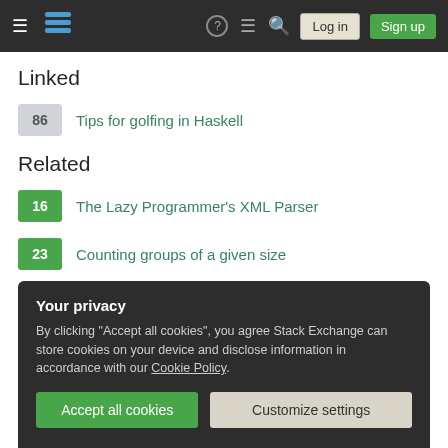Stack Exchange navigation bar with Log in and Sign up buttons
Linked
86 — Tips for golfing in Haskell
Related
16 — The Lazy Programmer's XML Parser
23 — Counting groups of a given size
50 — Alex is sometimes right
30 — Who is the sleepiest of them all?
Your privacy
By clicking "Accept all cookies", you agree Stack Exchange can store cookies on your device and disclose information in accordance with our Cookie Policy.